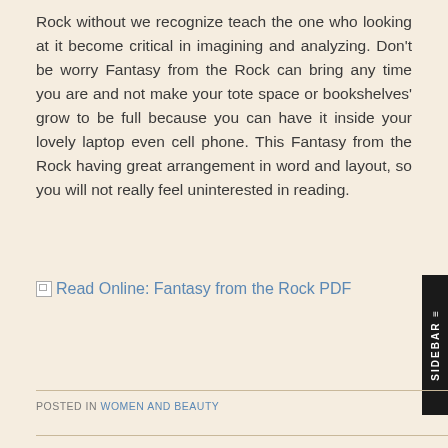Rock without we recognize teach the one who looking at it become critical in imagining and analyzing. Don't be worry Fantasy from the Rock can bring any time you are and not make your tote space or bookshelves' grow to be full because you can have it inside your lovely laptop even cell phone. This Fantasy from the Rock having great arrangement in word and layout, so you will not really feel uninterested in reading.
[Figure (other): Broken image placeholder followed by link text: Read Online: Fantasy from the Rock PDF]
POSTED IN WOMEN AND BEAUTY